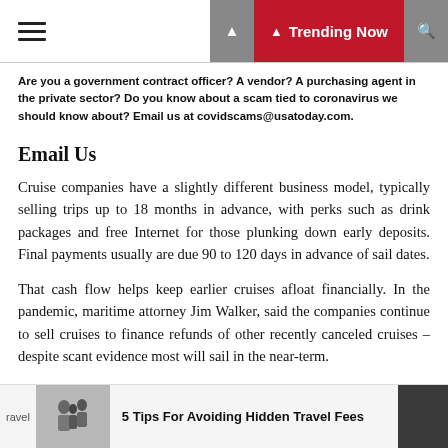Trending Now
Are you a government contract officer? A vendor? A purchasing agent in the private sector? Do you know about a scam tied to coronavirus we should know about? Email us at covidscams@usatoday.com.
Email Us
Cruise companies have a slightly different business model, typically selling trips up to 18 months in advance, with perks such as drink packages and free Internet for those plunking down early deposits. Final payments usually are due 90 to 120 days in advance of sail dates.
That cash flow helps keep earlier cruises afloat financially. In the pandemic, maritime attorney Jim Walker, said the companies continue to sell cruises to finance refunds of other recently canceled cruises – despite scant evidence most will sail in the near-term.
5 Tips For Avoiding Hidden Travel Fees